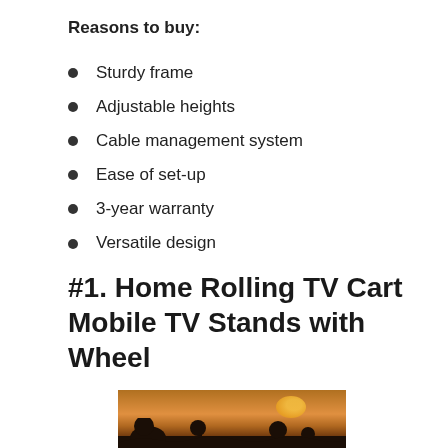Reasons to buy:
Sturdy frame
Adjustable heights
Cable management system
Ease of set-up
3-year warranty
Versatile design
#1. Home Rolling TV Cart Mobile TV Stands with Wheel
[Figure (photo): Photo of a TV or screen showing a sunset scene with silhouetted palm trees and landscape]